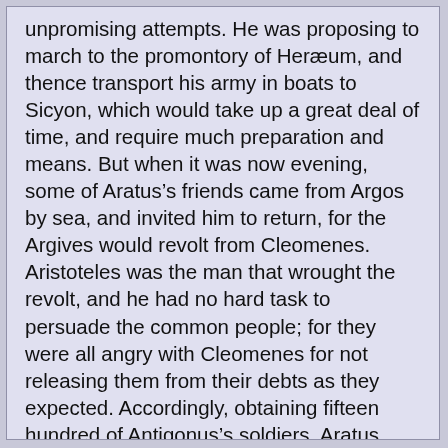unpromising attempts. He was proposing to march to the promontory of Heræum, and thence transport his army in boats to Sicyon, which would take up a great deal of time, and require much preparation and means. But when it was now evening, some of Aratus's friends came from Argos by sea, and invited him to return, for the Argives would revolt from Cleomenes. Aristoteles was the man that wrought the revolt, and he had no hard task to persuade the common people; for they were all angry with Cleomenes for not releasing them from their debts as they expected. Accordingly, obtaining fifteen hundred of Antigonus's soldiers, Aratus sailed to Epidaurus; but Aristoteles, not staying for his coming, drew out the citizens, and fought against the garrison of the castle; and Timoxenus, with the Achæans from Sicyon, came to his assistance.